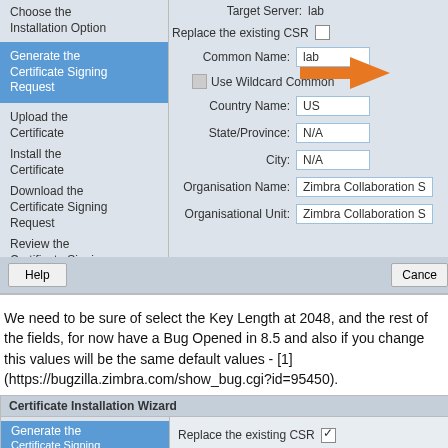[Figure (screenshot): Certificate Installation Wizard dialog showing navigation panel on left with options: Choose the Installation Option, Generate the Certificate Signing Request (highlighted/active in blue), Upload the Certificate, Install the Certificate, Download the Certificate Signing Request, Review the Certificate Signing Request. On the right side shows form fields: Target Server: lab, Replace the existing CSR checkbox (unchecked) with orange arrow pointing to it, Common Name: lab, Use Wildcard Common (partially visible), Country Name: US, State/Province: N/A, City: N/A, Organisation Name: Zimbra Collaboration S..., Organisational Unit: Zimbra Collaboration S..., Help button bottom left, Cancel button bottom right]
We need to be sure of select the Key Length at 2048, and the rest of the fields, for now have a Bug Opened in 8.5 and also if you change this values will be the same default values - [1] (https://bugzilla.zimbra.com/show_bug.cgi?id=95450).
[Figure (screenshot): Bottom Certificate Installation Wizard showing Generate the Certificate Signing (active/blue in nav) and Replace the existing CSR checkbox checked]